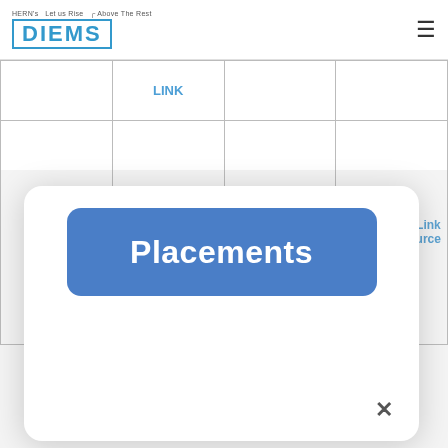DIEMS – Let us Rise Above The Rest
|  | LINK |  |  |
| --- | --- | --- | --- |
| MBA | MBA Survey Link First Year | MBA Survey Link Finance | MBA Survey Link Human Resource |
[Figure (screenshot): A modal popup dialog with a blue rounded button labeled 'Placements' and a close (×) button in the bottom right.]